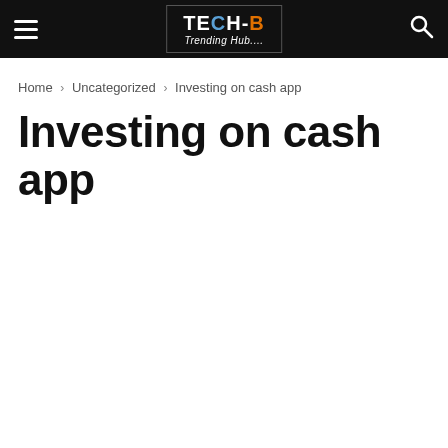TECH-B Trending Hub....
Home > Uncategorized > Investing on cash app
Investing on cash app